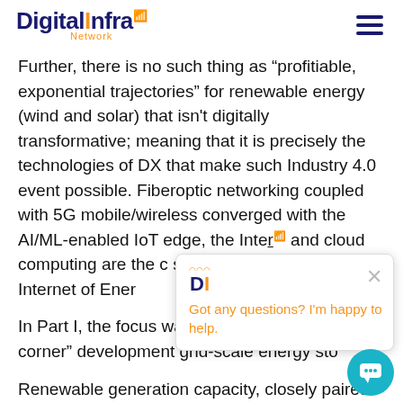Digital Infra Network
Further, there is no such thing as “profitiable, exponential trajectories” for renewable energy (wind and solar) that isn't digitally transformative; meaning that it is precisely the technologies of DX that make such Industry 4.0 event possible. Fiberoptic networking coupled with 5G mobile/wireless converged with the AI/ML-enabled IoT edge, the Interî and cloud computing are the c suite of DX of energy the Internet of Ener
In Part I, the focus was on the “just-around-the-corner” development grid-scale energy sto
Renewable generation capacity, closely paired